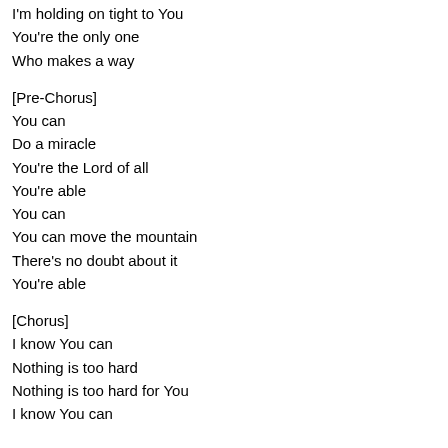I'm holding on tight to You
You're the only one
Who makes a way
[Pre-Chorus]
You can
Do a miracle
You're the Lord of all
You're able
You can
You can move the mountain
There's no doubt about it
You're able
[Chorus]
I know You can
Nothing is too hard
Nothing is too hard for You
I know You can